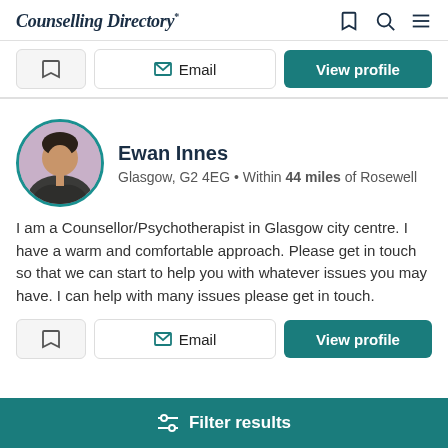Counselling Directory*
[Figure (screenshot): Top action bar with bookmark, Email, and View profile buttons from a previous listing card]
[Figure (photo): Circular profile photo of Ewan Innes, a man in a dark jacket against a pink/purple background, with teal border]
Ewan Innes
Glasgow, G2 4EG • Within 44 miles of Rosewell
I am a Counsellor/Psychotherapist in Glasgow city centre. I have a warm and comfortable approach. Please get in touch so that we can start to help you with whatever issues you may have. I can help with many issues please get in touch.
[Figure (screenshot): Action bar with bookmark, Email, and View profile buttons for Ewan Innes]
Filter results